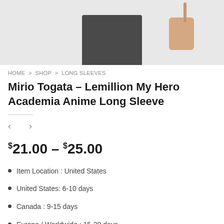[Figure (photo): Product photo showing dark pants and a beige shoulder bag against a light gray background]
HOME > SHOP > LONG SLEEVES
Mirio Togata – Lemillion My Hero Academia Anime Long Sleeve
< >
$21.00 – $25.00
Item Location : United States
United States: 6-10 days
Canada : 9-15 days
Europe / Worldwide : 15-20 days
Tracking Number Available (USPS)